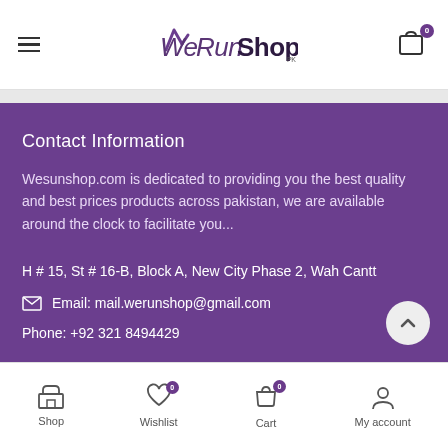WeRunShop
Contact Information
Wesunshop.com is dedicated to providing you the best quality and best prices products across pakistan, we are available around the clock to facilitate you...
H # 15, St # 16-B, Block A, New City Phase 2, Wah Cantt
Email: mail.werunshop@gmail.com
Phone: +92 321 8494429
Shop  Wishlist 0  Cart 0  My account